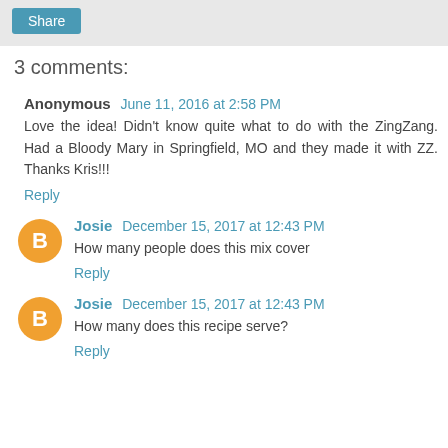Share
3 comments:
Anonymous June 11, 2016 at 2:58 PM
Love the idea! Didn't know quite what to do with the ZingZang. Had a Bloody Mary in Springfield, MO and they made it with ZZ. Thanks Kris!!!
Reply
Josie December 15, 2017 at 12:43 PM
How many people does this mix cover
Reply
Josie December 15, 2017 at 12:43 PM
How many does this recipe serve?
Reply